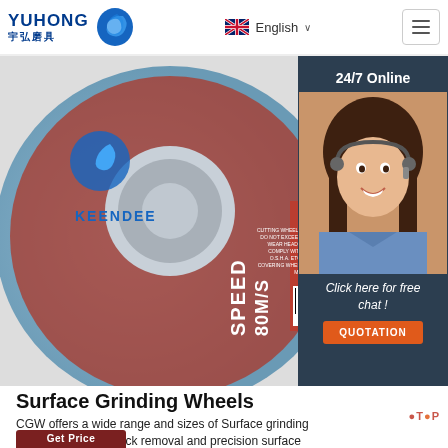YUHONG 宇弘磨具 | English
[Figure (photo): Close-up photo of a red and blue cutting/grinding wheel (KEENDEE brand) showing WARNING label, SPEED 80M/S, barcode, with a customer service agent overlay on the right side showing '24/7 Online' and 'Click here for free chat!' with QUOTATION button]
Surface Grinding Wheels
CGW offers a wide range and sizes of Surface grinding wheels for heavy stock removal and precision surface grinding.